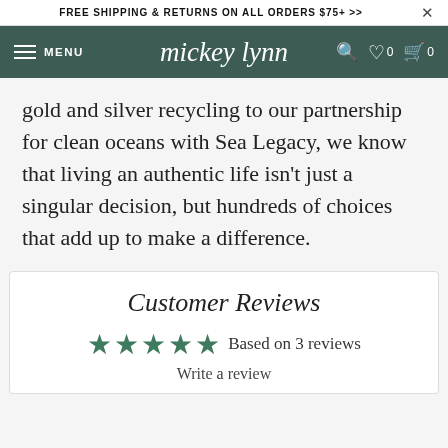FREE SHIPPING & RETURNS ON ALL ORDERS $75+ >>
mickey lynn — MENU — search — wishlist 0 — cart 0
gold and silver recycling to our partnership for clean oceans with Sea Legacy, we know that living an authentic life isn't just a singular decision, but hundreds of choices that add up to make a difference.
Customer Reviews
★★★★★ Based on 3 reviews
Write a review